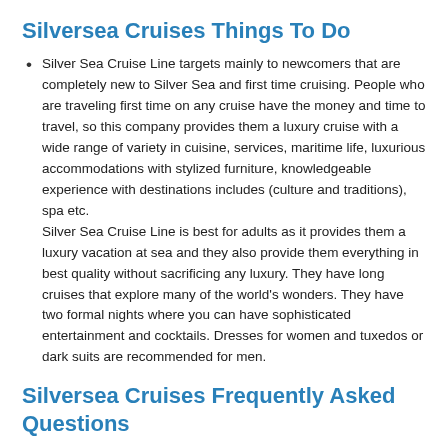Silversea Cruises Things To Do
Silver Sea Cruise Line targets mainly to newcomers that are completely new to Silver Sea and first time cruising. People who are traveling first time on any cruise have the money and time to travel, so this company provides them a luxury cruise with a wide range of variety in cuisine, services, maritime life, luxurious accommodations with stylized furniture, knowledgeable experience with destinations includes (culture and traditions), spa etc.
Silver Sea Cruise Line is best for adults as it provides them a luxury vacation at sea and they also provide them everything in best quality without sacrificing any luxury. They have long cruises that explore many of the world's wonders. They have two formal nights where you can have sophisticated entertainment and cocktails. Dresses for women and tuxedos or dark suits are recommended for men.
Silversea Cruises Frequently Asked Questions